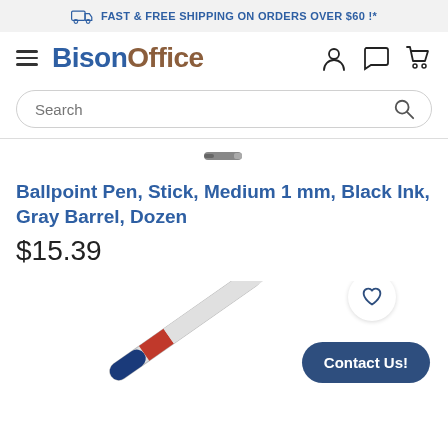FAST & FREE SHIPPING ON ORDERS OVER $60 !*
[Figure (screenshot): BisonOffice website navigation header with hamburger menu, logo, user/chat/cart icons]
[Figure (screenshot): Search bar with placeholder text 'Search' and magnifying glass icon]
[Figure (photo): Small thumbnail of a gray pen at the top of the product listing area]
Ballpoint Pen, Stick, Medium 1 mm, Black Ink, Gray Barrel, Dozen
$15.39
[Figure (photo): Diagonal view of a Ballpoint Pen with blue and red accents at bottom of page, with wishlist heart icon circle and Contact Us button overlay]